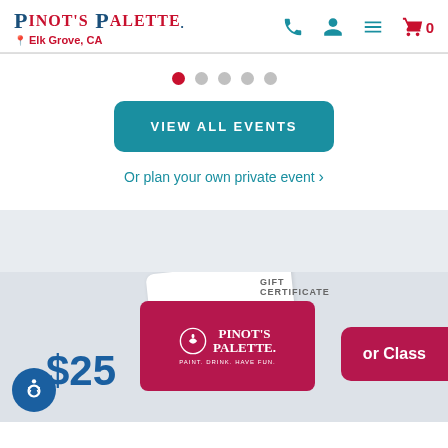[Figure (logo): Pinot's Palette logo with location tag Elk Grove, CA and navigation icons]
[Figure (other): Carousel dot navigation with 5 dots, first dot active (red)]
VIEW ALL EVENTS
Or plan your own private event ›
[Figure (photo): Gift certificate section with Pinot's Palette gift cards showing $25 denomination and 'or Class' button]